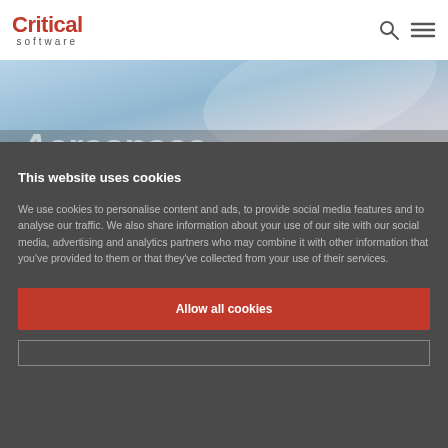Critical software
[Figure (photo): Aerospace hero image with blue sky and white surface, partially visible]
Aerospace
This website uses cookies
We use cookies to personalise content and ads, to provide social media features and to analyse our traffic. We also share information about your use of our site with our social media, advertising and analytics partners who may combine it with other information that you've provided to them or that they've collected from your use of their services.
Allow all cookies